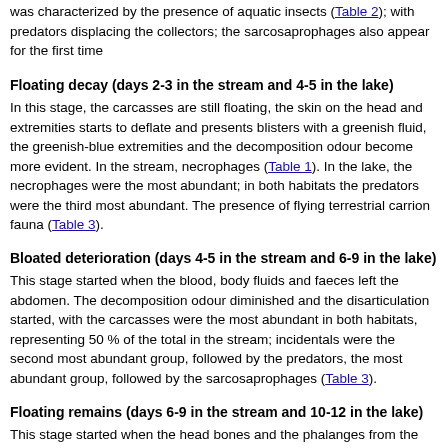was characterized by the presence of aquatic insects (Table 2); with predators displacing the collectors; the sarcosaprophages also appear for the first time
Floating decay (days 2-3 in the stream and 4-5 in the lake)
In this stage, the carcasses are still floating, the skin on the head and extremities starts to deflate and presents blisters with a greenish fluid, the greenish-blue extremities and the decomposition odour become more evident. In the stream, necrophages (Table 1). In the lake, the necrophages were the most abundant; in both habitats the predators were the third most abundant. The presence of flying terrestrial carrion fauna (Table 3).
Bloated deterioration (days 4-5 in the stream and 6-9 in the lake)
This stage started when the blood, body fluids and faeces left the abdomen. The decomposition odour diminished and the disarticulation started, with the carcasses were the most abundant in both habitats, representing 50 % of the total in the stream; incidentals were the second most abundant group, followed by the predators, the most abundant group, followed by the sarcosaprophages (Table 3).
Floating remains (days 6-9 in the stream and 10-12 in the lake)
This stage started when the head bones and the phalanges from the lower extremities completely submerged. The exposed areas presented a waxy aspect, rancid odour, typical in the saponification stage. In the stream, the necrophages, followed by the most abundant groups, while in the lake the predators, incidentals and necrophages were the
Sunken remains (days 10-13 in the stream and 13-15 in the lake)